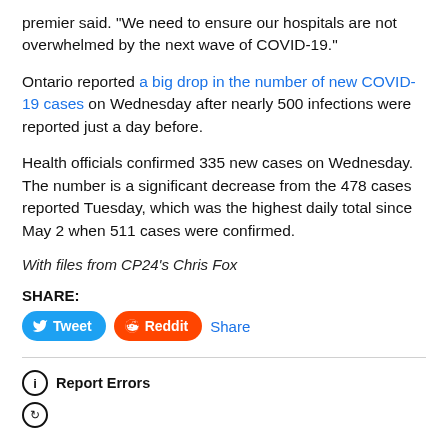premier said. "We need to ensure our hospitals are not overwhelmed by the next wave of COVID-19."
Ontario reported a big drop in the number of new COVID-19 cases on Wednesday after nearly 500 infections were reported just a day before.
Health officials confirmed 335 new cases on Wednesday. The number is a significant decrease from the 478 cases reported Tuesday, which was the highest daily total since May 2 when 511 cases were confirmed.
With files from CP24's Chris Fox
SHARE:
Tweet  Reddit  Share
Report Errors